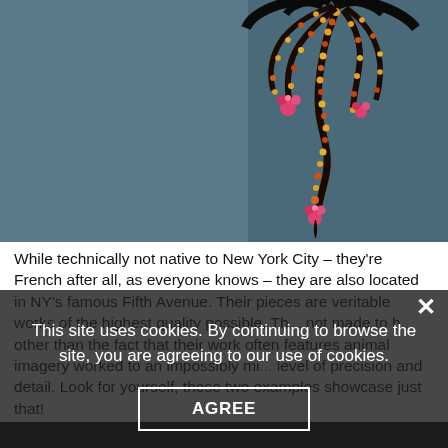[Figure (photo): Close-up photo of an ornate jeweled brooch with orange, red and yellow rhinestones on dark metal curved feather/flame shapes, displayed against a blue-grey background]
While technically not native to New York City – they're French after all, as everyone knows – they are also located in NY's famous Fifth Avenue. Their pieces are veritable works of the highest quality possible. Th... not made to be... other than the fact that their work often features animal imagery worked to an impossibly mi... level of precision and detail. Look for yourself, these two examples showcase just that!
This site uses cookies. By continuing to browse the site, you are agreeing to our use of cookies.
AGREE